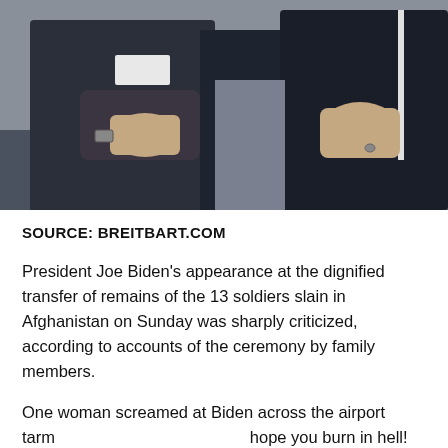[Figure (photo): Two people in dark formal attire with hands over their chests, appearing to be at a dignified transfer ceremony. A man in a dark suit on the left and a woman in a dark outfit on the right are visible.]
SOURCE: BREITBART.COM
President Joe Biden's appearance at the dignified transfer of remains of the 13 soldiers slain in Afghanistan on Sunday was sharply criticized, according to accounts of the ceremony by family members.
One woman screamed at Biden across the airport tarm... hope you burn in hell! That was my brother," according... Schmitz, the father of 20-year-old Lance Cpl. Jared Schmitz